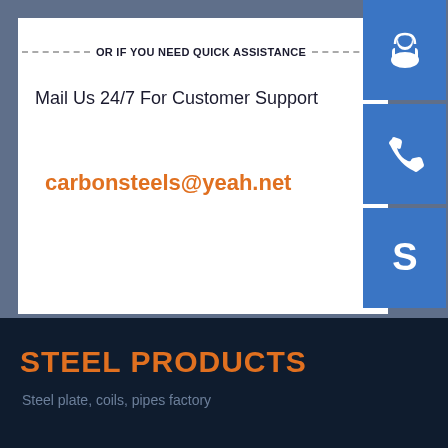OR IF YOU NEED QUICK ASSISTANCE
Mail Us 24/7 For Customer Support
carbonsteels@yeah.net
[Figure (illustration): Blue headset/customer support icon button]
[Figure (illustration): Blue phone icon button]
[Figure (illustration): Blue Skype icon button]
STEEL PRODUCTS
Steel plate, coils, pipes factory